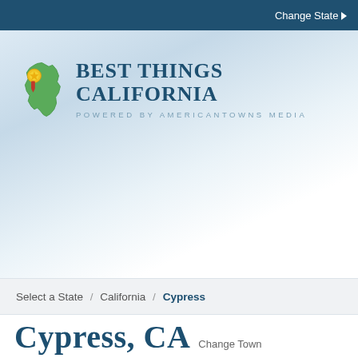Change State ▶
[Figure (logo): Best Things California logo — green California state silhouette with a gold/red medal ribbon, beside bold serif text 'BEST THINGS CALIFORNIA' and smaller sans-serif 'POWERED BY AMERICANTOWNS MEDIA']
Select a State / California / Cypress
Cypress, CA  Change Town